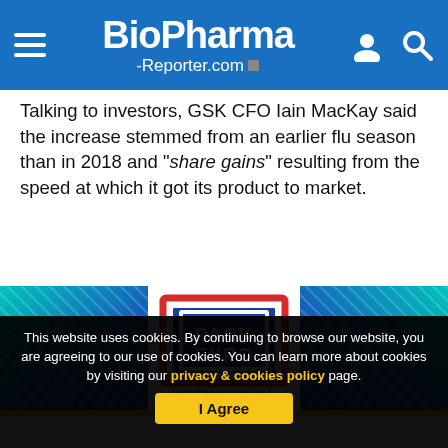BioPharma-Reporter.com
Talking to investors, GSK CFO Iain MacKay said the increase stemmed from an earlier flu season than in 2018 and "share gains" resulting from the speed at which it got its product to market.
[Figure (advertisement): Pack Expo International advertisement banner with teal and blue gradient background and Pack Expo International logo in center]
This website uses cookies. By continuing to browse our website, you are agreeing to our use of cookies. You can learn more about cookies by visiting our privacy & cookies policy page.
I Agree